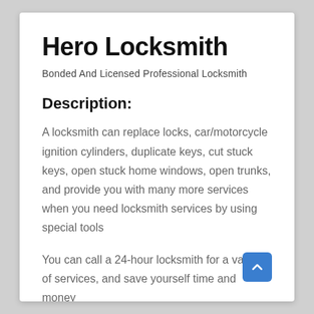Hero Locksmith
Bonded And Licensed Professional Locksmith
Description:
A locksmith can replace locks, car/motorcycle ignition cylinders, duplicate keys, cut stuck keys, open stuck home windows, open trunks, and provide you with many more services when you need locksmith services by using special tools
You can call a 24-hour locksmith for a variety of services, and save yourself time and money